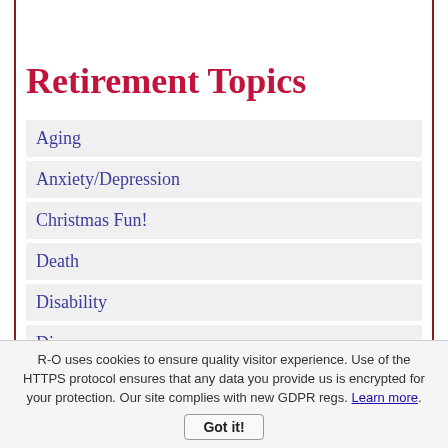Retirement Topics
Aging
Anxiety/Depression
Christmas Fun!
Death
Disability
Divorce
Family & Friends
Happiness
Hobbies
R-O uses cookies to ensure quality visitor experience. Use of the HTTPS protocol ensures that any data you provide us is encrypted for your protection. Our site complies with new GDPR regs. Learn more.